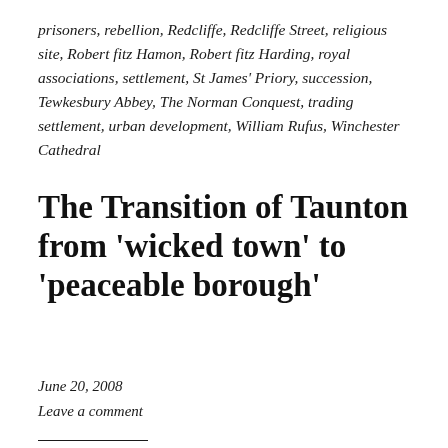prisoners, rebellion, Redcliffe, Redcliffe Street, religious site, Robert fitz Hamon, Robert fitz Harding, royal associations, settlement, St James' Priory, succession, Tewkesbury Abbey, The Norman Conquest, trading settlement, urban development, William Rufus, Winchester Cathedral
The Transition of Taunton from 'wicked town' to 'peaceable borough'
June 20, 2008
Leave a comment